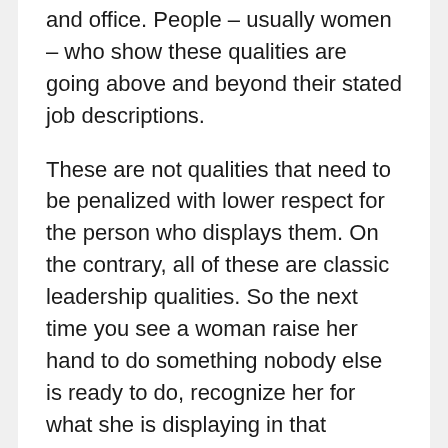and office. People – usually women – who show these qualities are going above and beyond their stated job descriptions.
These are not qualities that need to be penalized with lower respect for the person who displays them. On the contrary, all of these are classic leadership qualities. So the next time you see a woman raise her hand to do something nobody else is ready to do, recognize her for what she is displaying in that moment – the quality to be a team leader, not the team doormat.
At the same time, next time you want to nominate someone to take notes during a meeting, consider asking a man.
Next time you need someone to jot down ideas on a whiteboard while the rest of the team...